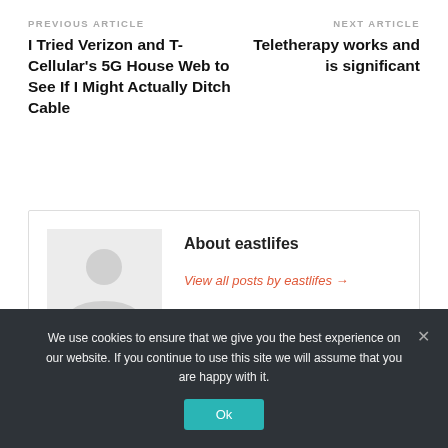PREVIOUS ARTICLE
I Tried Verizon and T-Cellular’s 5G House Web to See If I Might Actually Ditch Cable
NEXT ARTICLE
Teletherapy works and is significant
About eastlifes
View all posts by eastlifes →
We use cookies to ensure that we give you the best experience on our website. If you continue to use this site we will assume that you are happy with it.